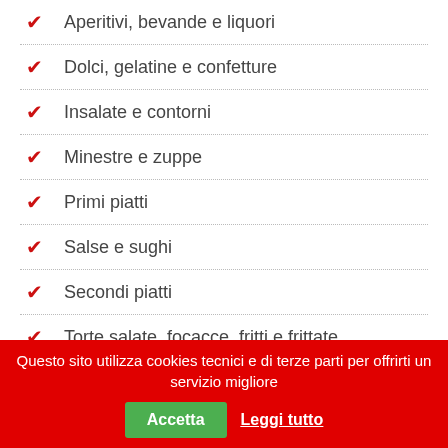Aperitivi, bevande e liquori
Dolci, gelatine e confetture
Insalate e contorni
Minestre e zuppe
Primi piatti
Salse e sughi
Secondi piatti
Torte salate, focacce, fritti e frittate
Questo sito utilizza cookies tecnici e di terze parti per offrirti un servizio migliore
Accetta
Leggi tutto